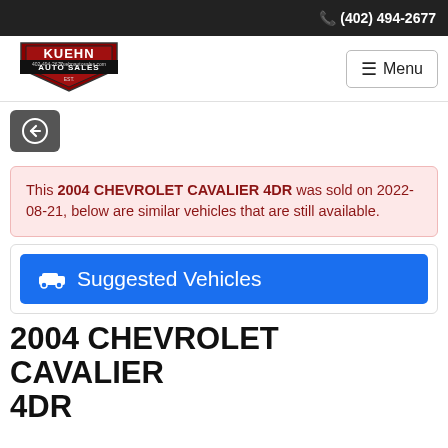(402) 494-2677
[Figure (logo): Kuehn Auto Sales logo with shield shape, red and black, 402-494-2677, kuehnautosales.com]
Menu
[Figure (other): Back navigation button with left arrow circle icon on dark gray background]
This 2004 CHEVROLET CAVALIER 4DR was sold on 2022-08-21, below are similar vehicles that are still available.
Suggested Vehicles
2004 CHEVROLET CAVALIER 4DR